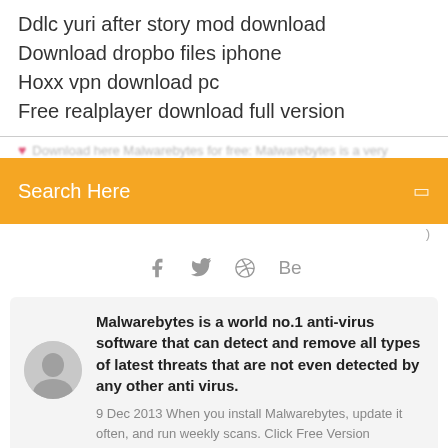Ddlc yuri after story mod download
Download dropbo files iphone
Hoxx vpn download pc
Free realplayer download full version
Download here Malwarebytes for free: Malwarebytes is a very...
Search Here
[Figure (other): Social media icons: facebook, twitter, dribbble, behance]
Malwarebytes is a world no.1 anti-virus software that can detect and remove all types of latest threats that are not even detected by any other anti virus.
9 Dec 2013 When you install Malwarebytes, update it often, and run weekly scans. Click Free Version